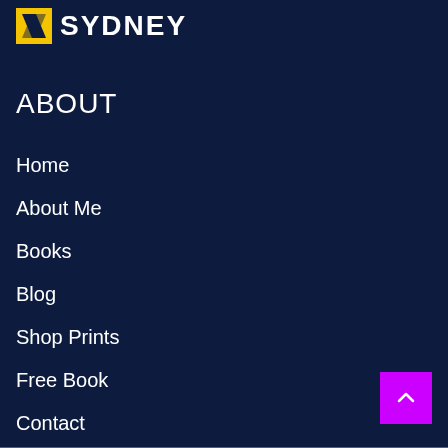[Figure (logo): News Sydney logo with yellow N icon and white SYDNEY text]
ABOUT
Home
About Me
Books
Blog
Shop Prints
Free Book
Contact